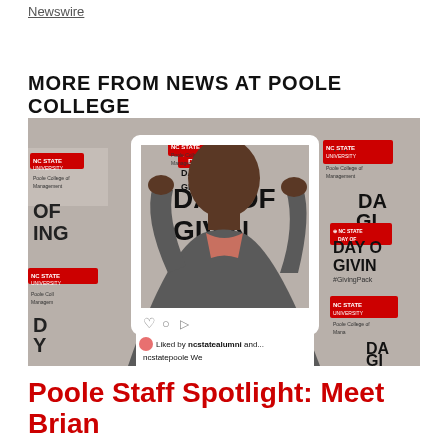Newswire
MORE FROM NEWS AT POOLE COLLEGE
[Figure (photo): A man smiling and holding up a large Instagram-style frame prop. The backdrop shows NC State University Poole College of Management 'Day of Giving' branding repeated across a white banner. The frame border is white with Instagram UI elements (like heart, comment, share icons) at the bottom, showing 'Liked by ncstatealumni and...' and 'ncstatepoole We...']
Poole Staff Spotlight: Meet Brian